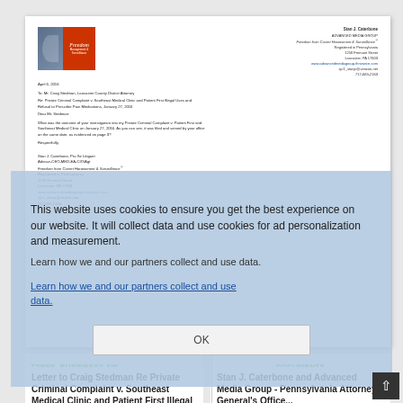[Figure (screenshot): Preview of a formal letter on Freedom Management & Surveillance letterhead from Stan J. Caterbone addressed to Craig Stedman regarding Private Criminal Complaint v. Southeast Medical Clinic and Patient First, dated April 6, 2016]
TYPES, BUSINESS/LAW, ...
DOCUMENTS
Letter to Craig Stedman Re Private Criminal Complaint v. Southeast Medical Clinic and Patient First Illegal Uses and Refusal to Prescribe Pain Medications, January 27, 2016
May 2016
262
Stan J. Caterbone and Advanced Media Group - Pennsylvania Attorney General's Office...
May 2016
179
This website uses cookies to ensure you get the best experience on our website. It will collect data and use cookies for ad personalization and measurement.
Learn how we and our partners collect and use data.
OK